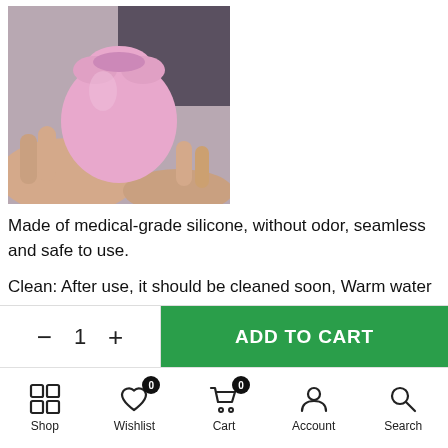[Figure (photo): A hand holding a pink rose-shaped silicone device against a blurred background]
Made of medical-grade silicone, without odor, seamless and safe to use.
Clean: After use, it should be cleaned soon, Warm water and soap can be used to clean.
- 1 + | ADD TO CART | Shop | Wishlist 0 | Cart 0 | Account | Search